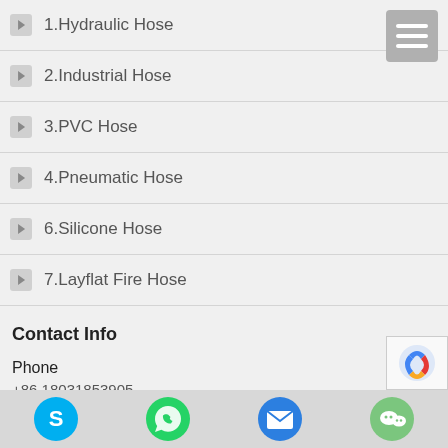1.Hydraulic Hose
2.Industrial Hose
3.PVC Hose
4.Pneumatic Hose
6.Silicone Hose
7.Layflat Fire Hose
Contact Info
Phone
+86 18031853905
WhatsApp